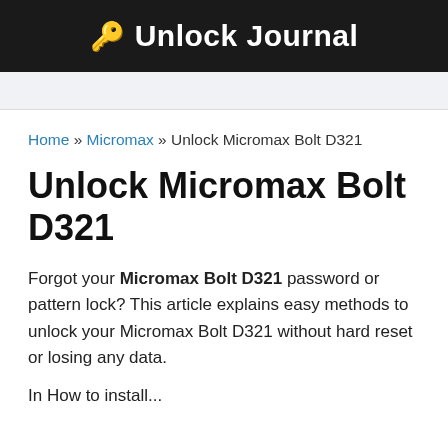🔑 Unlock Journal
Home » Micromax » Unlock Micromax Bolt D321
Unlock Micromax Bolt D321
Forgot your Micromax Bolt D321 password or pattern lock? This article explains easy methods to unlock your Micromax Bolt D321 without hard reset or losing any data.